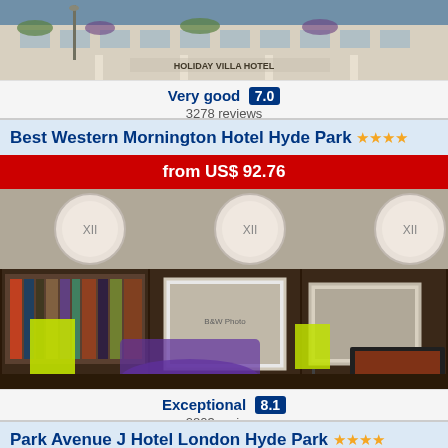[Figure (photo): Hotel exterior facade photo showing white building with flowers and columns, with 'Holiday Villa Hotel' signage]
Very good 7.0
3278 reviews
Best Western Mornington Hotel Hyde Park ★★★★
from US$ 92.76
[Figure (photo): Hotel interior lobby photo showing dark wood paneling, purple chairs, yellow lamps, framed artwork, and a fireplace]
Exceptional 8.1
2803 reviews
Park Avenue J Hotel London Hyde Park ★★★★